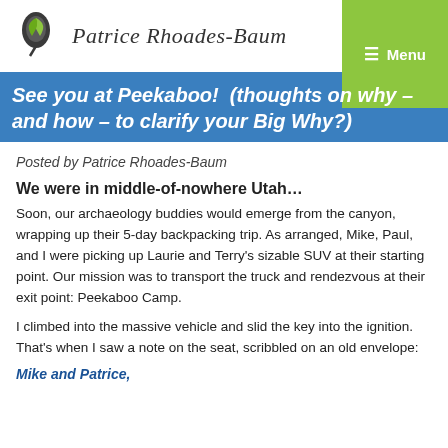Patrice Rhoades-Baum  ≡ Menu
See you at Peekaboo! (thoughts on why – and how – to clarify your Big Why?)
Posted by Patrice Rhoades-Baum
We were in middle-of-nowhere Utah…
Soon, our archaeology buddies would emerge from the canyon, wrapping up their 5-day backpacking trip. As arranged, Mike, Paul, and I were picking up Laurie and Terry's sizable SUV at their starting point. Our mission was to transport the truck and rendezvous at their exit point: Peekaboo Camp.
I climbed into the massive vehicle and slid the key into the ignition. That's when I saw a note on the seat, scribbled on an old envelope:
Mike and Patrice,